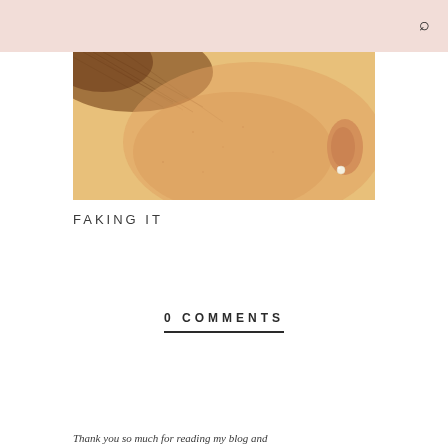[Figure (photo): Close-up photo of a person's cheek and ear area with soft skin texture and a small earring visible, warm yellowish-orange tones]
FAKING IT
0 COMMENTS
Thank you so much for reading my blog and